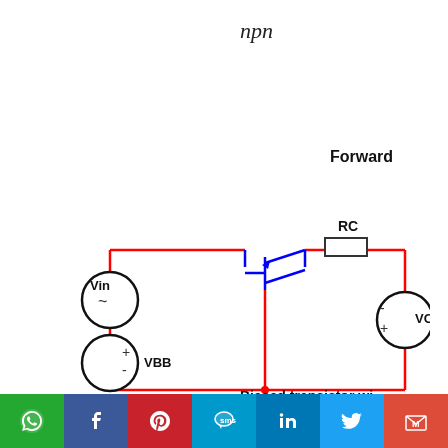npn
Forward
[Figure (circuit-diagram): NPN transistor biasing circuit with Vin (AC source), VBB (DC bias), RC (collector resistor), and VCC supply. Red lines show the main circuit loop, blue lines show the transistor connections. Ground symbol at bottom center.]
Biased transistor wi
[Figure (other): Social media sharing buttons: WhatsApp (green), Facebook (blue), Pinterest (red), SMS (light blue), LinkedIn (blue), Twitter (light blue), Gmail (red)]